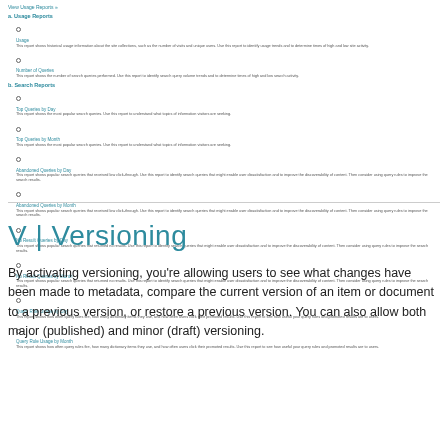View Usage Reports »
a. Usage Reports
Usage - This report shows historical usage information about the site collections, such as the number of visits and unique users. Use this report to identify usage trends and to determine times of high and low site activity.
Number of Queries - This report shows the number of search queries performed. Use this report to identify search query volume trends and to determine times of high and low search activity.
b. Search Reports
Top Queries by Day - This report shows the most popular search queries. Use this report to understand what topics of information visitors are seeking.
Top Queries by Month - This report shows the most popular search queries. Use this report to understand what topics of information visitors are seeking.
Abandoned Queries by Day - This report shows popular search queries that received low click-through. Use this report to identify search queries that might enable user dissatisfaction and to improve the discoverability of content. Then consider using query rules to improve the search results.
Abandoned Queries by Month - This report shows popular search queries that received low click-through. Use this report to identify search queries that might enable user dissatisfaction and to improve the discoverability of content. Then consider using query rules to improve the search results.
No Result Queries by Day - This report shows popular search queries that returned no results. Use this report to identify search queries that might enable user dissatisfaction and to improve the discoverability of content. Then consider using query rules to improve the search results.
No Result Queries by Month - This report shows popular search queries that returned no results. Use this report to identify search queries that might enable user dissatisfaction and to improve the discoverability of content. Then consider using query rules to improve the search results.
Query Rule Usage by Day - This report shows how often query rules fire, how many dictionary items they use, and how often users click their promoted results. Use this report to see how useful your query rules and promoted results are to users.
Query Rule Usage by Month - This report shows how often query rules fire, how many dictionary items they use, and how often users click their promoted results. Use this report to see how useful your query rules and promoted results are to users.
V | Versioning
By activating versioning, you're allowing users to see what changes have been made to metadata, compare the current version of an item or document to a previous version, or restore a previous version. You can also allow both major (published) and minor (draft) versioning.